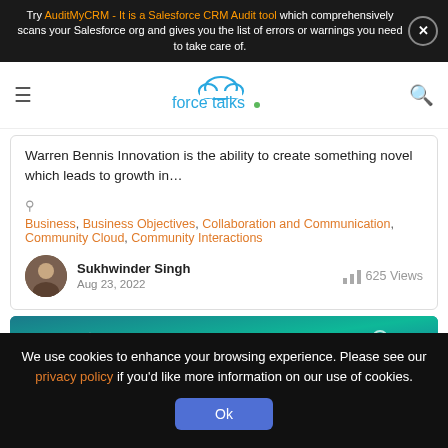Try AuditMyCRM - It is a Salesforce CRM Audit tool which comprehensively scans your Salesforce org and gives you the list of errors or warnings you need to take care of.
[Figure (logo): forcetalks. logo with cloud icon in blue and green dot]
Warren Bennis Innovation is the ability to create something novel which leads to growth in...
Business, Business Objectives, Collaboration and Communication, Community Cloud, Community Interactions
Sukhwinder Singh
Aug 23, 2022
625 Views
[Figure (screenshot): Community themed banner with teal/blue background showing icons and the word Community]
We use cookies to enhance your browsing experience. Please see our privacy policy if you'd like more information on our use of cookies.